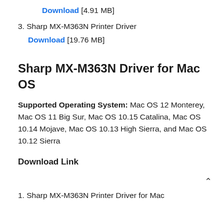Download [4.91 MB]
3. Sharp MX-M363N Printer Driver
Download [19.76 MB]
Sharp MX-M363N Driver for Mac OS
Supported Operating System: Mac OS 12 Monterey, Mac OS 11 Big Sur, Mac OS 10.15 Catalina, Mac OS 10.14 Mojave, Mac OS 10.13 High Sierra, and Mac OS 10.12 Sierra
Download Link
1. Sharp MX-M363N Printer Driver for Mac